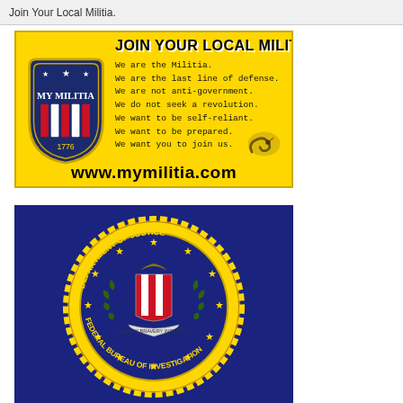Join Your Local Militia.
[Figure (illustration): Yellow advertisement banner for mymilitia.com featuring the My Militia shield logo (navy blue shield with red and white stripes and stars, '1776' at bottom) on the left, bold black text 'JOIN YOUR LOCAL MILITIA' at top, text lines reading 'We are the Militia. We are the last line of defense. We are not anti-government. We do not seek a revolution. We want to be self-reliant. We want to be prepared. We want you to join us.' and a Gadsden snake illustration, with website URL www.mymilitia.com at bottom in large bold font.]
[Figure (illustration): FBI seal on dark navy blue background. Circular gold badge reading 'Department of Justice Federal Bureau of Investigation' with stars around the ring, central shield with red white stripes, eagle, laurel branches, and banner.]